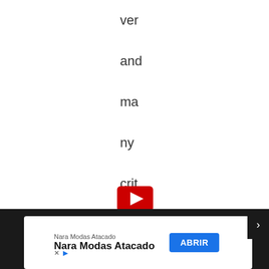ver and ma ny crit ics feel he did just tha t.
[Figure (screenshot): YouTube play button icon (red rectangle with white triangle play symbol)]
Nara Modas Atacado
Nara Modas Atacado
ABRIR